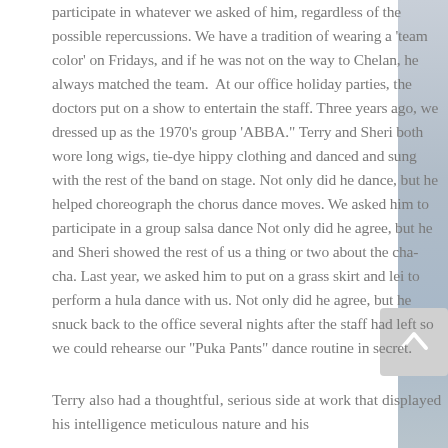participate in whatever we asked of him, regardless of the possible repercussions. We have a tradition of wearing a 'team color' on Fridays, and if he was not on the way to Chelan, he always matched the team. At our office holiday parties, the doctors put on a show to entertain the staff. Three years ago, we dressed up as the 1970's group 'ABBA.' Terry and Sheri both wore long wigs, tie-dye hippy clothing and danced and sung with the rest of the band on stage. Not only did he dance, but he helped choreograph the chorus dance moves. We asked him to participate in a group salsa dance Not only did he agree, but he and Sheri showed the rest of us a thing or two about the cha-cha. Last year, we asked him to put on a grass skirt and lei to perform a hula dance with us. Not only did he agree, but he snuck back to the office several nights after the staff had left so we could rehearse our "Puka Pants" dance routine in secret.
Terry also had a thoughtful, serious side at work that displayed his intelligence meticulous nature and his